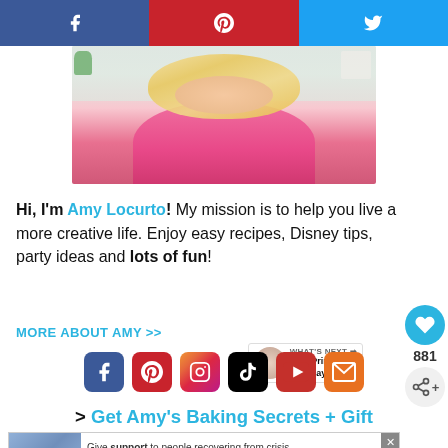[Figure (screenshot): Social sharing bar with Facebook (blue), Pinterest (red), and Twitter (light blue) buttons]
[Figure (photo): Woman with blonde hair wearing a pink top, in a kitchen setting]
Hi, I'm Amy Locurto! My mission is to help you live a more creative life. Enjoy easy recipes, Disney tips, party ideas and lots of fun!
MORE ABOUT AMY >>
[Figure (infographic): Social media icons row: Facebook, Pinterest, Instagram, TikTok, YouTube, Email]
> Get Amy's Baking Secrets + Gift
[Figure (screenshot): Advertisement: Give support to people recovering from crisis. Make a year-end donation.]